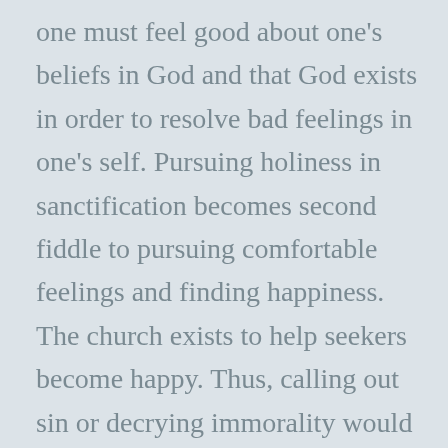one must feel good about one's beliefs in God and that God exists in order to resolve bad feelings in one's self. Pursuing holiness in sanctification becomes second fiddle to pursuing comfortable feelings and finding happiness. The church exists to help seekers become happy. Thus, calling out sin or decrying immorality would make one feel bad, and thus are set aside